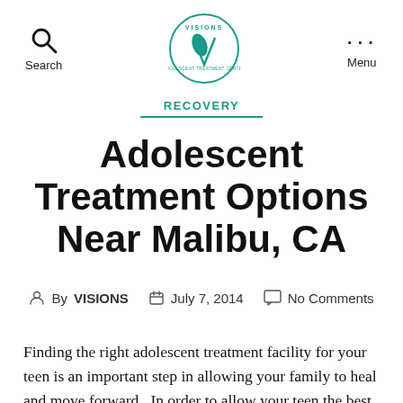Search | Visions Logo | Menu
RECOVERY
Adolescent Treatment Options Near Malibu, CA
By VISIONS   July 7, 2014   No Comments
Finding the right adolescent treatment facility for your teen is an important step in allowing your family to heal and move forward.  In order to allow your teen the best chance to recover, it is important to find a center that is